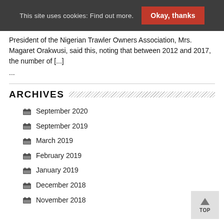This site uses cookies: Find out more.  Okay, thanks
President of the Nigerian Trawler Owners Association, Mrs. Magaret Orakwusi, said this, noting that between 2012 and 2017, the number of [...] ...
ARCHIVES
September 2020
September 2019
March 2019
February 2019
January 2019
December 2018
November 2018